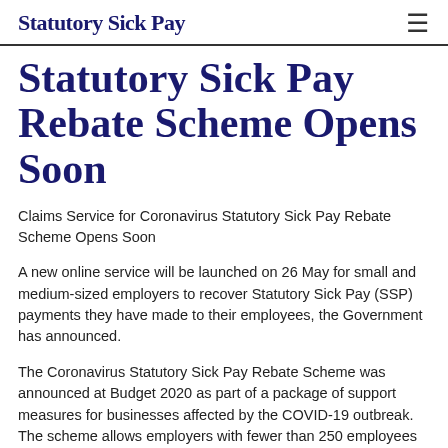Statutory Sick Pay ≡
Statutory Sick Pay Rebate Scheme Opens Soon
Claims Service for Coronavirus Statutory Sick Pay Rebate Scheme Opens Soon
A new online service will be launched on 26 May for small and medium-sized employers to recover Statutory Sick Pay (SSP) payments they have made to their employees, the Government has announced.
The Coronavirus Statutory Sick Pay Rebate Scheme was announced at Budget 2020 as part of a package of support measures for businesses affected by the COVID-19 outbreak. The scheme allows employers with fewer than 250 employees to apply to HMRC to recover the costs of paying coronavirus-related SSP.